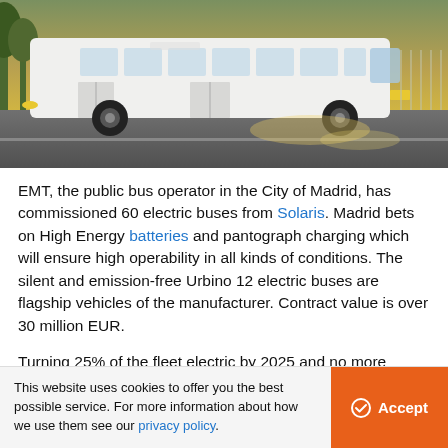[Figure (photo): White electric bus (Solaris Urbino 12 electric) driving on a road, photographed at golden hour with warm light. Green trees visible in background on left side.]
EMT, the public bus operator in the City of Madrid, has commissioned 60 electric buses from Solaris. Madrid bets on High Energy batteries and pantograph charging which will ensure high operability in all kinds of conditions. The silent and emission-free Urbino 12 electric buses are flagship vehicles of the manufacturer. Contract value is over 30 million EUR.
Turning 25% of the fleet electric by 2025 and no more diesel engine buses operating in the streets of Madrid from 2023 - These are the ambitious transport goals
This website uses cookies to offer you the best possible service. For more information about how we use them see our privacy policy.